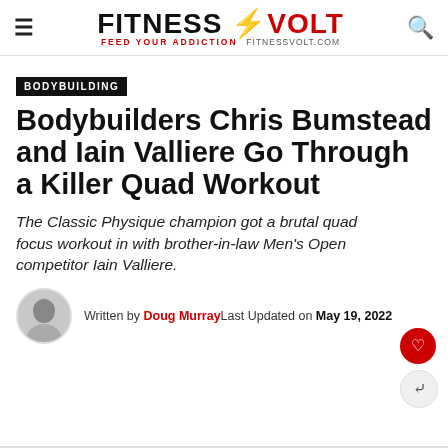FITNESS VOLT — FEED YOUR ADDICTION FITNESSVOLT.COM
BODYBUILDING
Bodybuilders Chris Bumstead and Iain Valliere Go Through a Killer Quad Workout
The Classic Physique champion got a brutal quad focus workout in with brother-in-law Men's Open competitor Iain Valliere.
Written by Doug Murray Last Updated on May 19, 2022